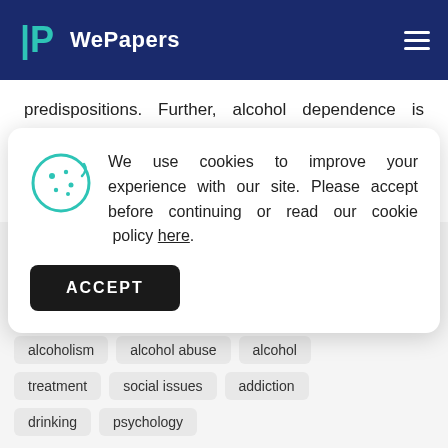WePapers
predispositions. Further, alcohol dependence is linked to particular conditions such as anxiety and depression. Under the methodology of biopsychology, the study explains that the
We use cookies to improve your experience with our site. Please accept before continuing or read our cookie policy here.
ACCEPT
alcoholism
alcohol abuse
alcohol
treatment
social issues
addiction
drinking
psychology